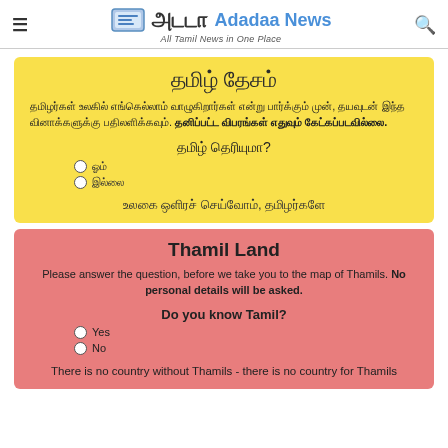Adadaa News — All Tamil News in One Place
தமிழ் தேசம்
தமிழர்கள் உலகில் எங்கெல்லாம் வாழுகிறார்கள் என்று பார்க்கும் முன், தயவுடன் இந்த வினாக்களுக்கு பதிலளிக்கவும். தனிப்பட்ட விபரங்கள் எதுவும் கேட்கப்படவில்லை.
தமிழ் தெரியுமா?
ஓம்
இல்லை
உலகை ஒளிரச் செய்வோம், தமிழர்களே
Thamil Land
Please answer the question, before we take you to the map of Thamils. No personal details will be asked.
Do you know Tamil?
Yes
No
There is no country without Thamils - there is no country for Thamils